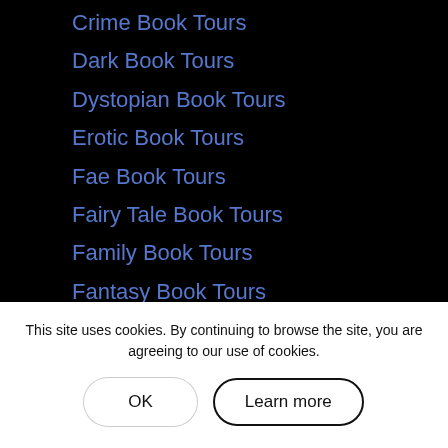Crime Book Tours
Dark Book Tours
Dystopian Book Tours
Erotic Book Tours
Fae Book Tours
Fairy Tale Book Tours
Family Book Tours
Fantasy Book Tours
Featured Action
Featured Adventure
Featured African American
Featured Anthology
Featured Charity
Featured Children
Featured Comedy
Featured Contemporary
Featured Cozy Mystery
This site uses cookies. By continuing to browse the site, you are agreeing to our use of cookies.